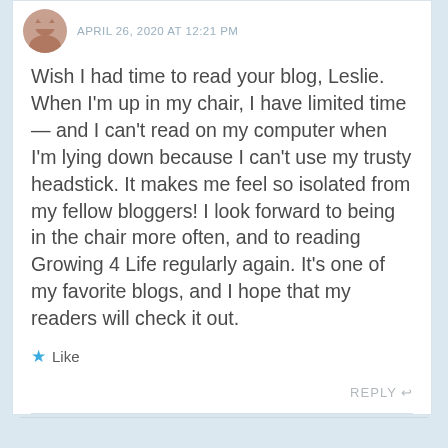APRIL 26, 2020 AT 12:21 PM
Wish I had time to read your blog, Leslie. When I'm up in my chair, I have limited time — and I can't read on my computer when I'm lying down because I can't use my trusty headstick. It makes me feel so isolated from my fellow bloggers! I look forward to being in the chair more often, and to reading Growing 4 Life regularly again. It's one of my favorite blogs, and I hope that my readers will check it out.
Like
REPLY